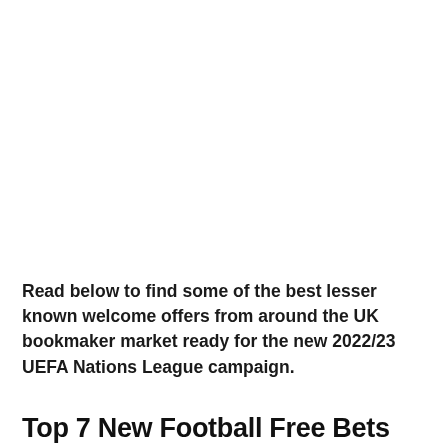Read below to find some of the best lesser known welcome offers from around the UK bookmaker market ready for the new 2022/23 UEFA Nations League campaign.
Top 7 New Football Free Bets